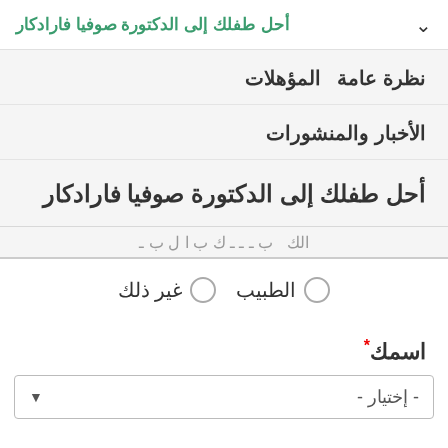أحل طفلك إلى الدكتورة صوفيا فارادكار
نظرة عامة   المؤهلات
الأخبار والمنشورات
أحل طفلك إلى الدكتورة صوفيا فارادكار
الك ... بخبابانكالبيانات
○ الطبيب  ○ غير ذلك
اسمك *
- إختيار -